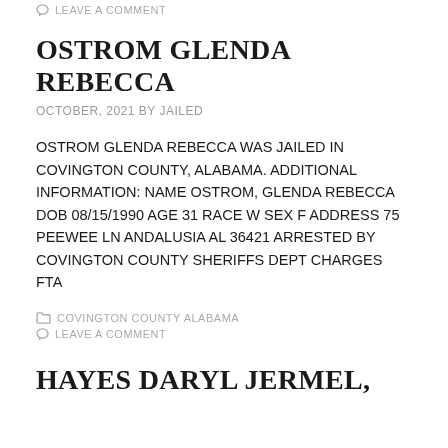LEAVE A COMMENT
OSTROM GLENDA REBECCA
OCTOBER, 2021 BY JAILED
OSTROM GLENDA REBECCA WAS JAILED IN COVINGTON COUNTY, ALABAMA. ADDITIONAL INFORMATION: NAME OSTROM, GLENDA REBECCA DOB 08/15/1990 AGE 31 RACE W SEX F ADDRESS 75 PEEWEE LN ANDALUSIA AL 36421 ARRESTED BY COVINGTON COUNTY SHERIFFS DEPT CHARGES FTA
COVINGTON COUNTY ALABAMA
LEAVE A COMMENT
HAYES DARYL JERMEL,